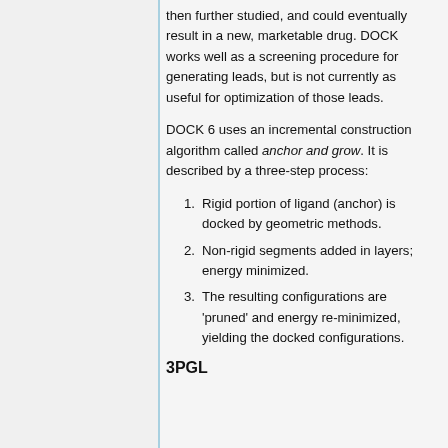then further studied, and could eventually result in a new, marketable drug. DOCK works well as a screening procedure for generating leads, but is not currently as useful for optimization of those leads.
DOCK 6 uses an incremental construction algorithm called anchor and grow. It is described by a three-step process:
Rigid portion of ligand (anchor) is docked by geometric methods.
Non-rigid segments added in layers; energy minimized.
The resulting configurations are 'pruned' and energy re-minimized, yielding the docked configurations.
3PGL